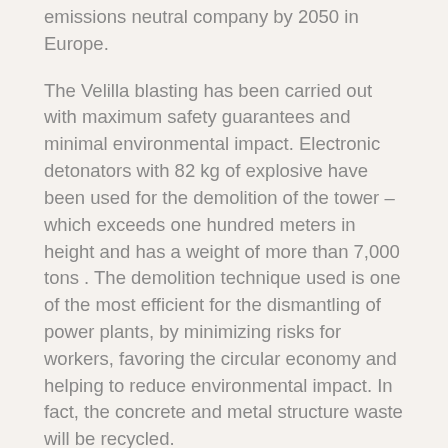emissions neutral company by 2050 in Europe.
The Velilla blasting has been carried out with maximum safety guarantees and minimal environmental impact. Electronic detonators with 82 kg of explosive have been used for the demolition of the tower – which exceeds one hundred meters in height and has a weight of more than 7,000 tons . The demolition technique used is one of the most efficient for the dismantling of power plants, by minimizing risks for workers, favoring the circular economy and helping to reduce environmental impact. In fact, the concrete and metal structure waste will be recycled.
Crash in five seconds
After the blast was detonated, the cooling tower has descended on its vertical with a slight tilt towards the north, without being a tipping, with the aim of grouping